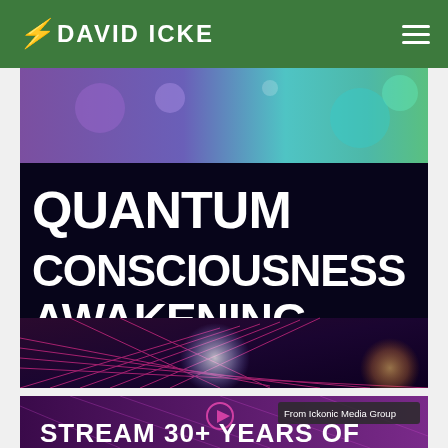DAVID ICKE
[Figure (screenshot): Promotional image for 'Quantum Consciousness Awakening' — top portion shows cosmic/space imagery with purples, blues, and teals; middle band is dark navy/black with large bold white text reading 'QUANTUM CONSCIOUSNESS AWAKENING'; bottom portion shows pink grid lines on dark background with glowing orbs]
[Figure (screenshot): Second promotional video thumbnail with purple background, a pink play button icon, text badge 'From Ickonic Media Group', and large white text 'STREAM 30+ YEARS OF' over geometric line pattern]